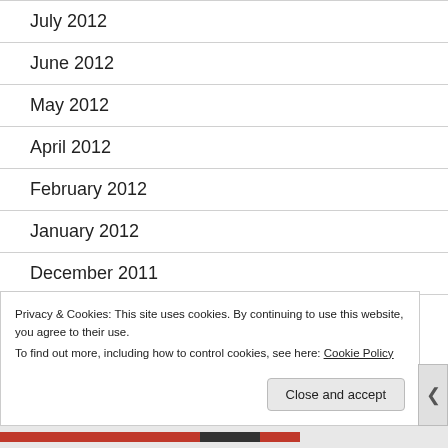July 2012
June 2012
May 2012
April 2012
February 2012
January 2012
December 2011
November 201...
Privacy & Cookies: This site uses cookies. By continuing to use this website, you agree to their use.
To find out more, including how to control cookies, see here: Cookie Policy
Close and accept